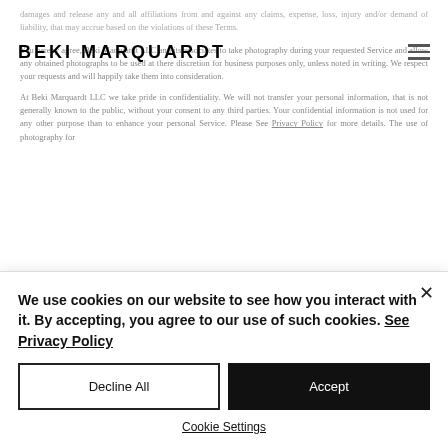BEKI MARQUARDT
damages and release any and all affiliations from and against any claims, expense, loss, injury and/or demand of liability, that may accrue based on the violations of these Terms.
You hereby agree, Beki Marquardt LLC and its associates to take photography during your requested Service and allow any obtained photographs to be used at there discretion for business purposes only, unless noted in writing. We respect your requests and will happily take them into consideration.
At Beki Marquardt LLC we take pride in confidentiality. We will not transfer your personal information, that is not generally known to the public, without your consent to any third parties. Your confidential information is not used for any other purpose than to enhance your personal Service. Please See Privacy Policy for more details. The use of photography for
We use cookies on our website to see how you interact with it. By accepting, you agree to our use of such cookies. See Privacy Policy
Decline All
Accept
Cookie Settings